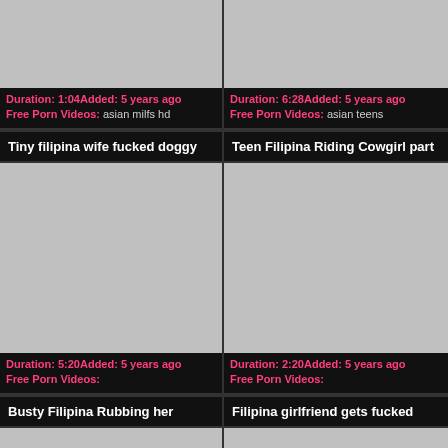[Figure (photo): Gray thumbnail placeholder, top left]
Duration: 1:04Added: 5 years ago
Free Porn Videos: asian milfs hd
[Figure (photo): Gray thumbnail placeholder, top right]
Duration: 6:28Added: 5 years ago
Free Porn Videos: asian teens
Tiny filipina wife fucked doggy
Teen Filipina Riding Cowgirl part
[Figure (photo): Gray thumbnail placeholder, middle left]
Duration: 5:20Added: 5 years ago
Free Porn Videos:
[Figure (photo): Gray thumbnail placeholder, middle right]
Duration: 2:20Added: 5 years ago
Free Porn Videos:
Busty Filipina Rubbing her
Filipina girlfriend gets fucked